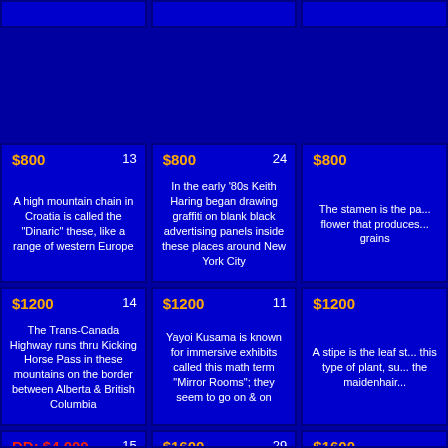| $800 / 13 | $800 / 24 | $800 |
| A high mountain chain in Croatia is called the "Dinaric" these, like a range of western Europe | In the early '80s Keith Haring began drawing graffiti on blank black advertising panels inside these places around New York City | The stamen is the pa... flower that produces... grains |
| $1200 / 14 | $1200 / 11 | $1200 |
| The Trans-Canada Highway runs thru Kicking Horse Pass in these mountains on the border between Alberta & British Columbia | Yayoi Kusama is known for immersive exhibits called this math term "Mirror Rooms"; they seem to go on & on | A stipe is the leaf st... this type of plant, su... the maidenhair... |
| DD: $4,000 / 15 | $1600 / 29 | $1600 |